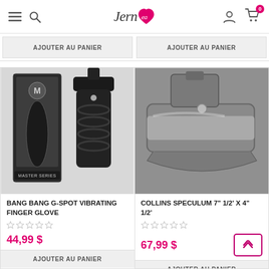Jernea
AJOUTER AU PANIER
AJOUTER AU PANIER
[Figure (photo): Product photo of Bang Bang G-Spot Vibrating Finger Glove by Master Series, showing product in box and standalone]
BANG BANG G-SPOT VIBRATING FINGER GLOVE
44,99 $
AJOUTER AU PANIER
[Figure (photo): Close-up photo of Collins Speculum 7" 1/2 x 4" 1/2, a stainless steel medical speculum]
COLLINS SPECULUM 7" 1/2' X 4" 1/2'
67,99 $
AJOUTER AU PANIER